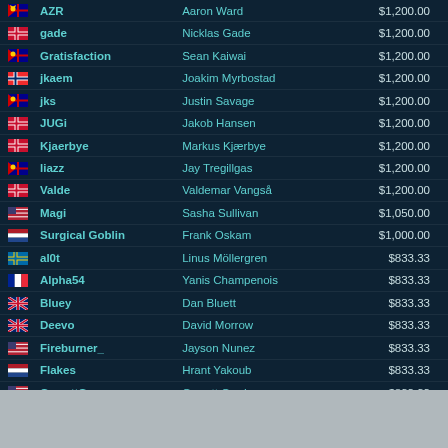| Flag | Handle | Real Name | Prize |
| --- | --- | --- | --- |
| AUS | AZR | Aaron Ward | $1,200.00 |
| DEN | gade | Nicklas Gade | $1,200.00 |
| AUS | Gratisfaction | Sean Kaiwai | $1,200.00 |
| NOR | jkaem | Joakim Myrbostad | $1,200.00 |
| AUS | jks | Justin Savage | $1,200.00 |
| DEN | JUGi | Jakob Hansen | $1,200.00 |
| DEN | Kjaerbye | Markus Kjærbye | $1,200.00 |
| AUS | liazz | Jay Tregillgas | $1,200.00 |
| DEN | Valde | Valdemar Vangså | $1,200.00 |
| USA | Magi | Sasha Sullivan | $1,050.00 |
| NED | Surgical Goblin | Frank Oskam | $1,000.00 |
| SWE | al0t | Linus Möllergren | $833.33 |
| FRA | Alpha54 | Yanis Champenois | $833.33 |
| GBR | Bluey | Dan Bluett | $833.33 |
| GBR | Deevo | David Morrow | $833.33 |
| USA | Fireburner_ | Jayson Nunez | $833.33 |
| NED | Flakes | Hrant Yakoub | $833.33 |
| USA | GarrettG | Garrett Gordon | $833.33 |
| NOR | gReazymeister | Marius Ranheim | $833.33 |